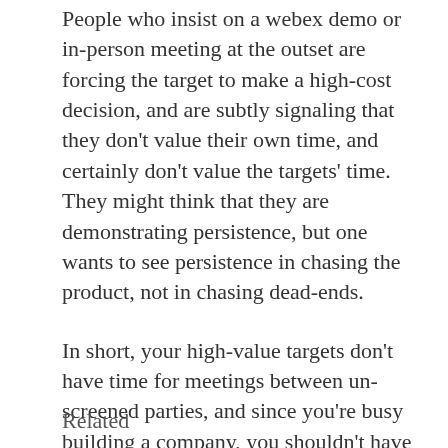People who insist on a webex demo or in-person meeting at the outset are forcing the target to make a high-cost decision, and are subtly signaling that they don't value their own time, and certainly don't value the targets' time. They might think that they are demonstrating persistence, but one wants to see persistence in chasing the product, not in chasing dead-ends.
In short, your high-value targets don't have time for meetings between un-screened parties, and since you're busy building a company, you shouldn't have time for them either.
Subscribe to Naval
Related